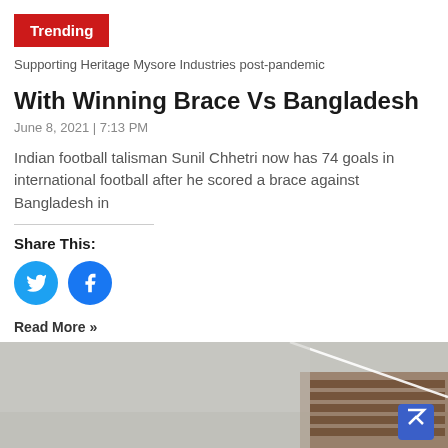Trending
Supporting Heritage Mysore Industries post-pandemic
With Winning Brace Vs Bangladesh
June 8, 2021 | 7:13 PM
Indian football talisman Sunil Chhetri now has 74 goals in international football after he scored a brace against Bangladesh in
Share This:
[Figure (other): Twitter and Facebook share buttons (blue circular icons)]
Read More »
[Figure (photo): A foggy/smoky outdoor scene showing stacked wooden logs or debris with a diagonal line/cable visible, and a blue scroll-to-top button in the bottom right corner]